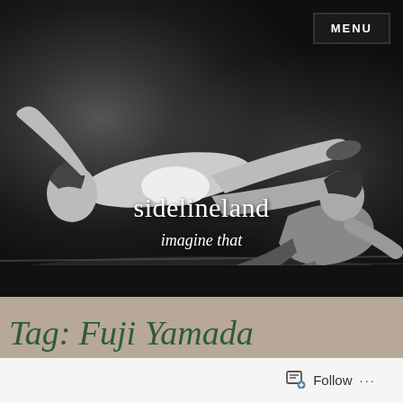[Figure (photo): Black and white photograph of two wrestlers in action — one wrestler is airborne horizontally, the other is seated/fallen on the mat. Shot appears to be from a professional wrestling match.]
sidelineland
imagine that
MENU
Tag: Fuji Yamada
Follow ...